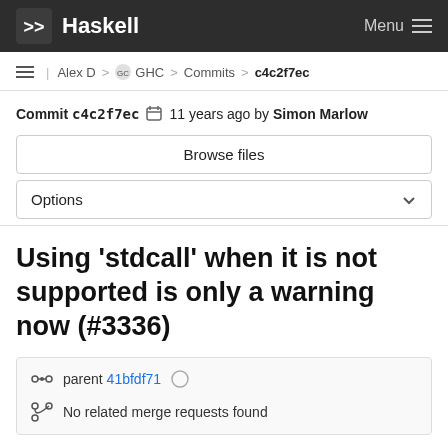Haskell — Menu
Alex D > GHC > Commits > c4c2f7ec
Commit c4c2f7ec  11 years ago by Simon Marlow
Browse files
Options
Using 'stdcall' when it is not supported is only a warning now (#3336)
parent 41bfdf71
No related merge requests found